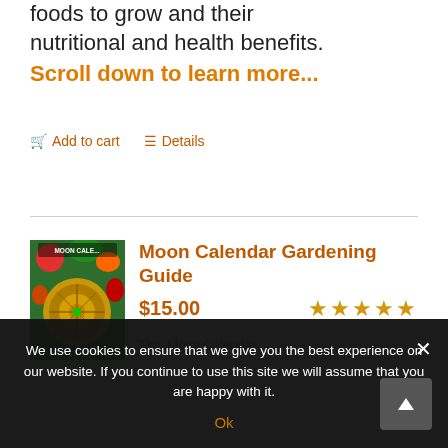foods to grow and their nutritional and health benefits.
Scroll down to learn more...
🛒 Add to cart   ☰ Details
Moon Calendar Gardening Guide
$15.00
★★★★★
This Moon Calendar
We use cookies to ensure that we give you the best experience on our website. If you continue to use this site we will assume that you are happy with it.
Ok